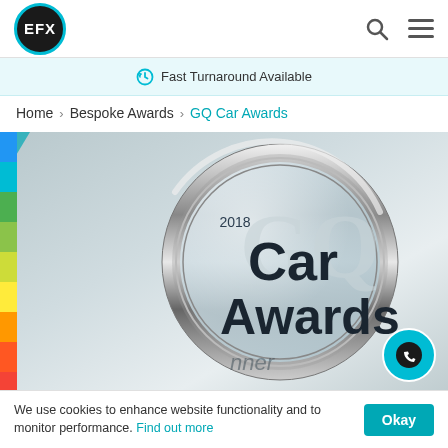[Figure (logo): EFX logo — black circle with teal border and white EFX text]
Fast Turnaround Available
Home › Bespoke Awards › GQ Car Awards
[Figure (photo): GQ Car Awards 2018 circular crystal trophy with chrome ring, on grey gradient background with colored vertical bar on left side]
We use cookies to enhance website functionality and to monitor performance. Find out more  Okay